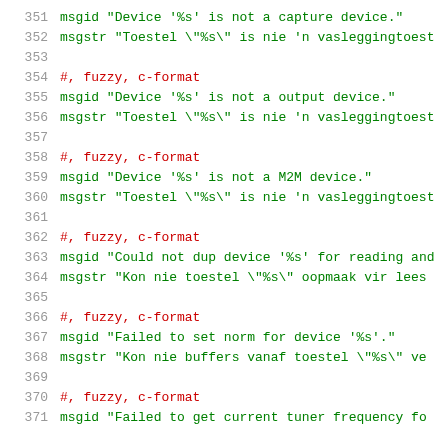351  msgid "Device '%s' is not a capture device."
352  msgstr "Toestel \"%s\" is nie 'n vasleggingtoest
353
354  #, fuzzy, c-format
355  msgid "Device '%s' is not a output device."
356  msgstr "Toestel \"%s\" is nie 'n vasleggingtoest
357
358  #, fuzzy, c-format
359  msgid "Device '%s' is not a M2M device."
360  msgstr "Toestel \"%s\" is nie 'n vasleggingtoest
361
362  #, fuzzy, c-format
363  msgid "Could not dup device '%s' for reading and
364  msgstr "Kon nie toestel \"%s\" oopmaak vir lees
365
366  #, fuzzy, c-format
367  msgid "Failed to set norm for device '%s'."
368  msgstr "Kon nie buffers vanaf toestel \"%s\" ve
369
370  #, fuzzy, c-format
371  msgid "Failed to get current tuner frequency fo